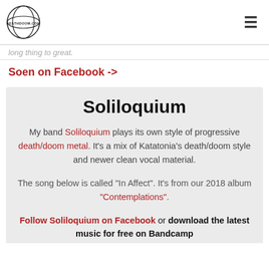deathdoom.com [logo] [hamburger menu]
long thing to great.
Soen on Facebook ->
Soliloquium
My band Soliloquium plays its own style of progressive death/doom metal. It's a mix of Katatonia's death/doom style and newer clean vocal material.
The song below is called "In Affect". It's from our 2018 album "Contemplations".
Follow Soliloquium on Facebook or download the latest music for free on Bandcamp